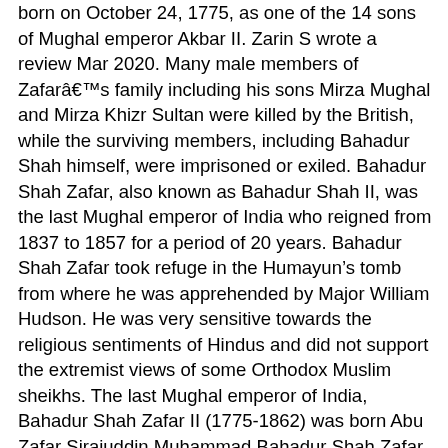born on October 24, 1775, as one of the 14 sons of Mughal emperor Akbar II. Zarin S wrote a review Mar 2020. Many male members of Zafarâs family including his sons Mirza Mughal and Mirza Khizr Sultan were killed by the British, while the surviving members, including Bahadur Shah himself, were imprisoned or exiled. Bahadur Shah Zafar, also known as Bahadur Shah II, was the last Mughal emperor of India who reigned from 1837 to 1857 for a period of 20 years. Bahadur Shah Zafar took refuge in the Humayun’s tomb from where he was apprehended by Major William Hudson. He was very sensitive towards the religious sentiments of Hindus and did not support the extremist views of some Orthodox Muslim sheikhs. The last Mughal emperor of India, Bahadur Shah Zafar II (1775-1862) was born Abu Zafar Sirajuddin Muhammad Bahadur Shah Zafar and was a very famous Urdu poet in his times. He had a fine hand as a calligrapher and sent copies of his handwritten Quran to the prominent mosques of Delhi as gift. Bahādur Shāh II, also called Bahādur Shāh Ẓafar, (born October 24, 1775, Delhi, India—died November 7, 1862, Rangoon [now Yangon], Myanmar), the last Mughal emperor of India (reigned 1837–57). He was arrested, imprisoned, and made to suffer a series of ignominies: the beheading of his